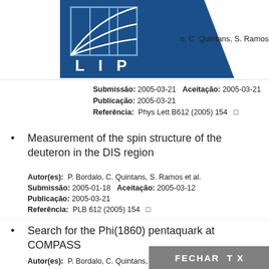[Figure (logo): LIP laboratory logo - blue background with stylized grid/lines graphic and text LIP]
o, C. Quintans, S. Ramos, M.
Submissão: 2005-03-21   Aceitação: 2005-03-21
Publicação: 2005-03-21
Referência: Phys Lett B612 (2005) 154
Measurement of the spin structure of the deuteron in the DIS region
Autor(es): P. Bordalo, C. Quintans, S. Ramos et al.
Submissão: 2005-01-18   Aceitação: 2005-03-12
Publicação: 2005-03-21
Referência: PLB 612 (2005) 154
Search for the Phi(1860) pentaquark at COMPASS
Autor(es): P. Bordalo, C. Quintans, S. Ramos, M.